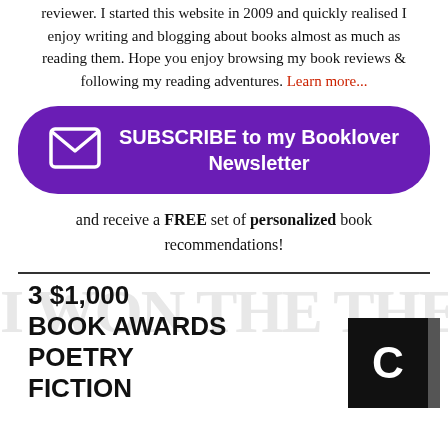reviewer. I started this website in 2009 and quickly realised I enjoy writing and blogging about books almost as much as reading them. Hope you enjoy browsing my book reviews & following my reading adventures. Learn more...
[Figure (infographic): Purple rounded rectangle button with envelope icon and text SUBSCRIBE to my Booklover Newsletter]
and receive a FREE set of personalized book recommendations!
[Figure (infographic): Book awards advertisement showing '3 $1,000 BOOK AWARDS POETRY FICTION' with a black book cover displaying the letter C, over a faded watermark background]